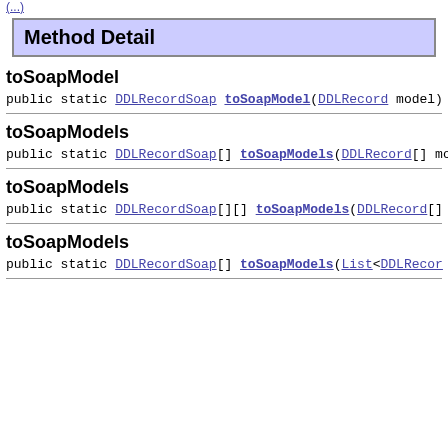Method Detail
toSoapModel
public static DDLRecordSoap toSoapModel(DDLRecord model)
toSoapModels
public static DDLRecordSoap[] toSoapModels(DDLRecord[] mo
toSoapModels
public static DDLRecordSoap[][] toSoapModels(DDLRecord[]
toSoapModels
public static DDLRecordSoap[] toSoapModels(List<DDLRecor